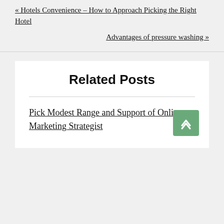« Hotels Convenience – How to Approach Picking the Right Hotel
Advantages of pressure washing »
Related Posts
Pick Modest Range and Support of Online Marketing Strategist